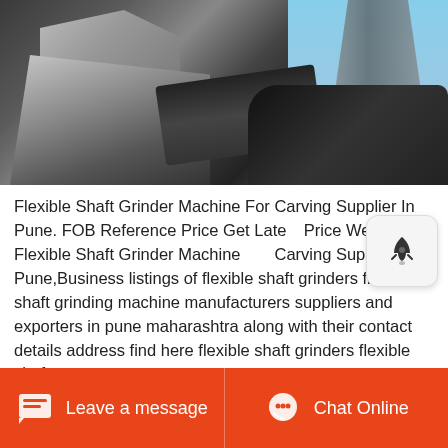[Figure (photo): Industrial flexible shaft grinder machine at an outdoor facility, showing heavy machinery with conveyor belts and metal structures against a sky background]
Flexible Shaft Grinder Machine For Carving Supplier In Pune. FOB Reference Price Get Latest Price We have Flexible Shaft Grinder Machine For Carving Supplier In Pune,Business listings of flexible shaft grinders flexible shaft grinding machine manufacturers suppliers and exporters in pune maharashtra along with their contact details address find here flexible shaft grinders flexible shaft...
Leave a message   Chat Online